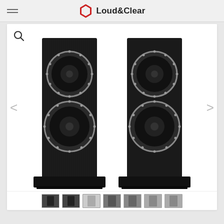Loud & Clear
[Figure (photo): Product photo of a pair of tall black floorstanding loudspeakers (Fyne Audio or similar) with two large circular drivers each, set against a white background. The speakers have a black wood-grain cabinet finish and sit on black plinths with spikes.]
[Figure (photo): Thumbnail strip at bottom showing multiple small product photos of the speakers from various angles]